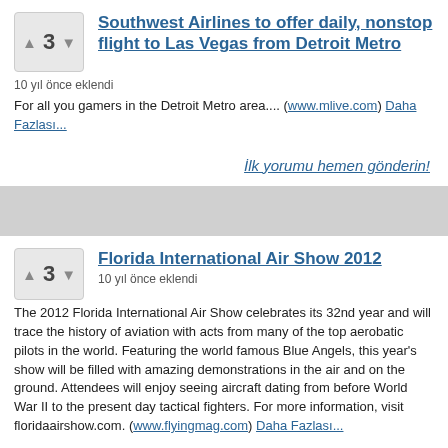Southwest Airlines to offer daily, nonstop flight to Las Vegas from Detroit Metro
10 yıl önce eklendi
For all you gamers in the Detroit Metro area.... (www.mlive.com) Daha Fazlası...
İlk yorumu hemen gönderin!
Florida International Air Show 2012
10 yıl önce eklendi
The 2012 Florida International Air Show celebrates its 32nd year and will trace the history of aviation with acts from many of the top aerobatic pilots in the world. Featuring the world famous Blue Angels, this year's show will be filled with amazing demonstrations in the air and on the ground. Attendees will enjoy seeing aircraft dating from before World War II to the present day tactical fighters. For more information, visit floridaairshow.com. (www.flyingmag.com) Daha Fazlası...
İlk yorumu hemen gönderin!